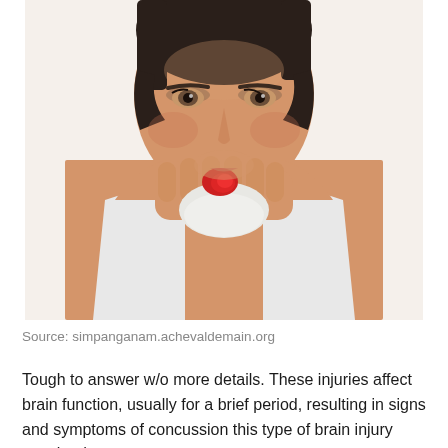[Figure (photo): A woman with dark short hair holding a red-stained tissue to her nose, appearing to have a nosebleed. She is wearing a white tank top and looking down at the tissue with a concerned expression. White background.]
Source: simpanganam.achevaldemain.org
Tough to answer w/o more details. These injuries affect brain function, usually for a brief period, resulting in signs and symptoms of concussion this type of brain injury may lead to